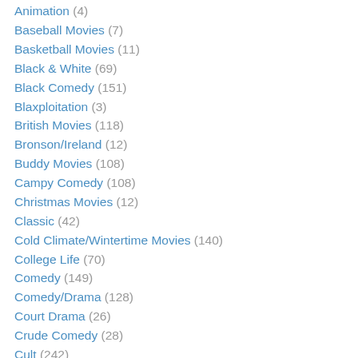Animation (4)
Baseball Movies (7)
Basketball Movies (11)
Black & White (69)
Black Comedy (151)
Blaxploitation (3)
British Movies (118)
Bronson/Ireland (12)
Buddy Movies (108)
Campy Comedy (108)
Christmas Movies (12)
Classic (42)
Cold Climate/Wintertime Movies (140)
College Life (70)
Comedy (149)
Comedy/Drama (128)
Court Drama (26)
Crude Comedy (28)
Cult (242)
Disaster Flicks (25)